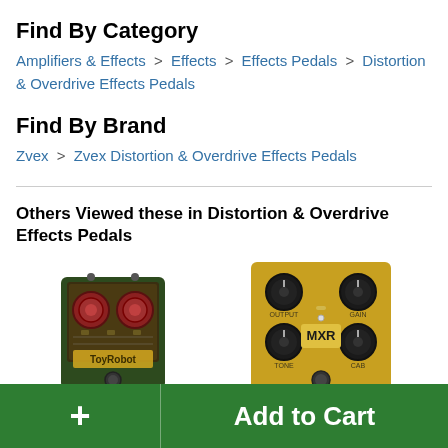Find By Category
Amplifiers & Effects > Effects > Effects Pedals > Distortion & Overdrive Effects Pedals
Find By Brand
Zvex > Zvex Distortion & Overdrive Effects Pedals
Others Viewed these in Distortion & Overdrive Effects Pedals
[Figure (photo): ToyRobot effects pedal - dark green enclosure with circuit board visible and ToyRobot label]
[Figure (photo): MXR effects pedal - gold enclosure with black knobs and MXR logo]
+ Add to Cart